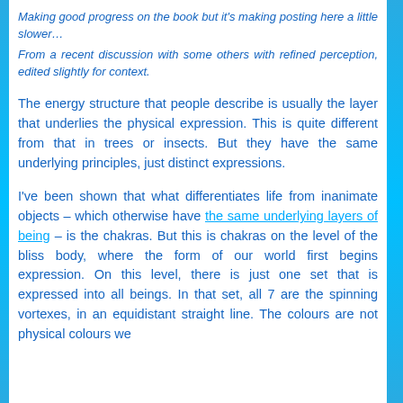Making good progress on the book but it's making posting here a little slower…
From a recent discussion with some others with refined perception, edited slightly for context.
The energy structure that people describe is usually the layer that underlies the physical expression. This is quite different from that in trees or insects. But they have the same underlying principles, just distinct expressions.
I've been shown that what differentiates life from inanimate objects – which otherwise have the same underlying layers of being – is the chakras. But this is chakras on the level of the bliss body, where the form of our world first begins expression. On this level, there is just one set that is expressed into all beings. In that set, all 7 are the spinning vortexes, in an equidistant straight line. The colours are not physical colours we